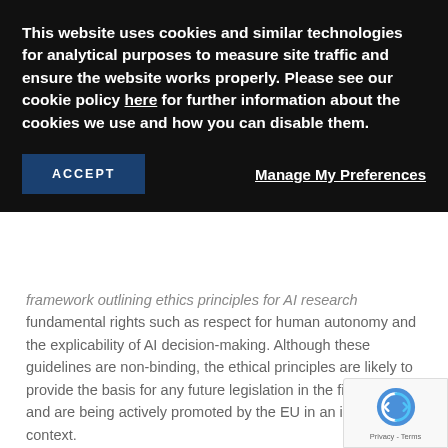This website uses cookies and similar technologies for analytical purposes to measure site traffic and ensure the website works properly. Please see our cookie policy here for further information about the cookies we use and how you can disable them.
ACCEPT
Manage My Preferences
framework outlining ethics principles for AI research fundamental rights such as respect for human autonomy and the explicability of AI decision-making. Although these guidelines are non-binding, the ethical principles are likely to provide the basis for any future legislation in the field of AI and are being actively promoted by the EU in an international context.
Access to Data
One of the principal obstacles to the rapid development of AI systems is the availability of high-quality data on which machine learning algorithms can train themselves. There